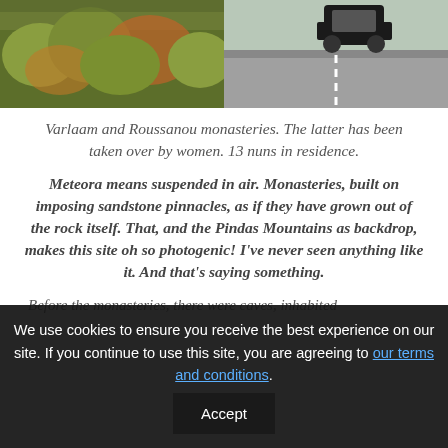[Figure (photo): Two photos side by side: left shows autumn foliage trees, right shows a road with a car]
Varlaam and Roussanou monasteries. The latter has been taken over by women. 13 nuns in residence.
Meteora means suspended in air. Monasteries, built on imposing sandstone pinnacles, as if they have grown out of the rock itself. That, and the Pindas Mountains as backdrop, makes this site oh so photogenic! I’ve never seen anything like it. And that’s saying something.
Before the monasteries, there were caves, inhabited
We use cookies to ensure you receive the best experience on our site. If you continue to use this site, you are agreeing to our terms and conditions. Accept